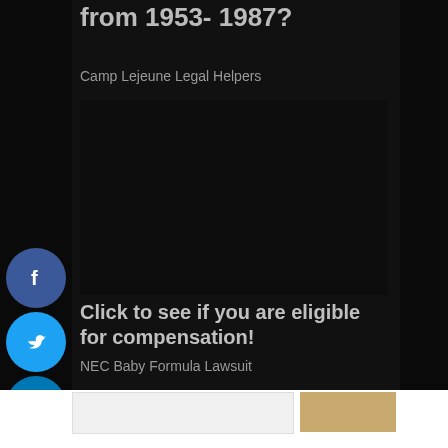from 1953- 1987?
Camp Lejeune Legal Helpers
[Figure (other): Dark advertisement image area, mostly black]
Click to see if you are eligible for compensation!
NEC Baby Formula Lawsuit
[Figure (other): Social media share buttons: Facebook, Twitter, LinkedIn, Reddit, Email]
[Figure (other): Advertisement banner images at bottom of page]